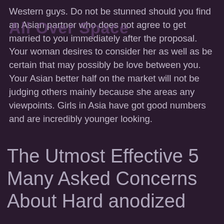Western guys. Do not be stunned should you find an Asian partner who does not agree to get married to you immediately after the proposal. Your woman desires to consider her as well as be certain that may possibly be love between you. Your Asian better half on the market will not be judging others mainly because she areas any viewpoints. Girls in Asia have got good numbers and are incredibly younger looking.
The Utmost Effective 5 Many Asked Concerns About Hard anodized